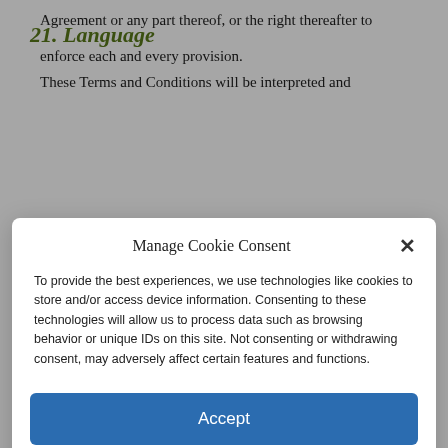Agreement or any part thereof, or the right thereafter to enforce each and every provision.
21. Language
These Terms and Conditions will be interpreted and
Manage Cookie Consent
To provide the best experiences, we use technologies like cookies to store and/or access device information. Consenting to these technologies will allow us to process data such as browsing behavior or unique IDs on this site. Not consenting or withdrawing consent, may adversely affect certain features and functions.
Accept
Cookie Policy